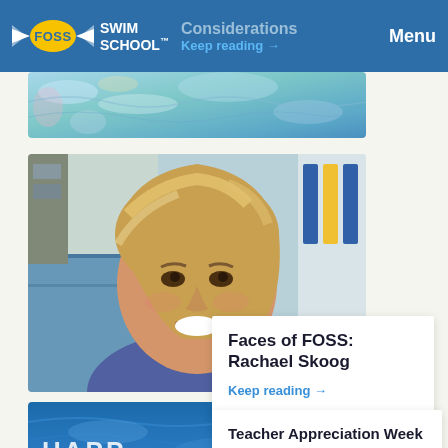FOSS SWIM SCHOOL | Considerations | Keep reading → | Menu
[Figure (photo): Swimming pool water surface, colorful reflections, top strip image]
[Figure (photo): Smiling woman with blonde hair, indoor swimming pool background - Rachael Skoog]
Faces of FOSS: Rachael Skoog
Keep reading →
[Figure (photo): Blue swimming pool water with HAPPY TEACHER text overlay]
Teacher Appreciation Week at Foss Swim School